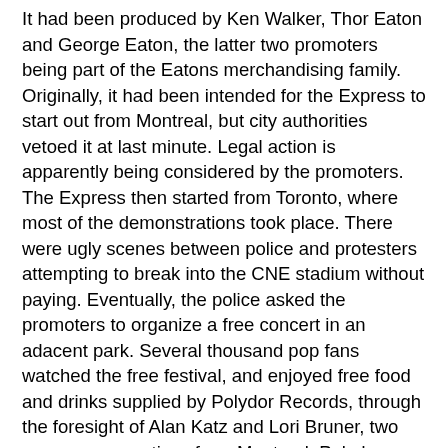It had been produced by Ken Walker, Thor Eaton and George Eaton, the latter two promoters being part of the Eatons merchandising family.
Originally, it had been intended for the Express to start out from Montreal, but city authorities vetoed it at last minute. Legal action is apparently being considered by the promoters.
The Express then started from Toronto, where most of the demonstrations took place. There were ugly scenes between police and protesters attempting to break into the CNE stadium without paying. Eventually, the police asked the promoters to organize a free concert in an adacent park. Several thousand pop fans watched the free festival, and enjoyed free food and drinks supplied by Polydor Records, through the foresight of Alan Katz and Lori Bruner, two company executives from Montreal. Polydor boosted its image enormously by the gesture.
In Winnipeg, the Festival was simply a disaster. It drew only 4,500. Calgary was a brighter scene for the promoters, but the damage had already been done.
The original budget for the Express was reported to be $900,000, with gross receipts only reaching $500,000.